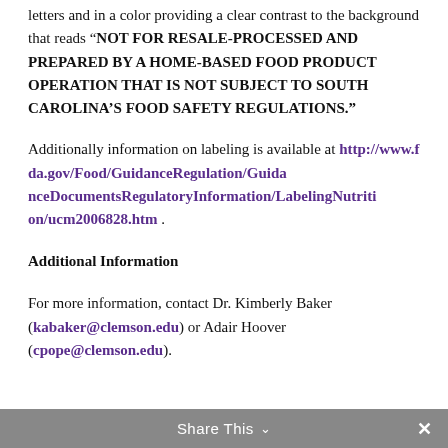letters and in a color providing a clear contrast to the background that reads “NOT FOR RESALE-PROCESSED AND PREPARED BY A HOME-BASED FOOD PRODUCT OPERATION THAT IS NOT SUBJECT TO SOUTH CAROLINA’S FOOD SAFETY REGULATIONS.”
Additionally information on labeling is available at http://www.fda.gov/Food/GuidanceRegulation/GuidanceDocumentsRegulatoryInformation/LabelingNutrition/ucm2006828.htm .
Additional Information
For more information, contact Dr. Kimberly Baker (kabaker@clemson.edu) or Adair Hoover (cpope@clemson.edu).
Share This